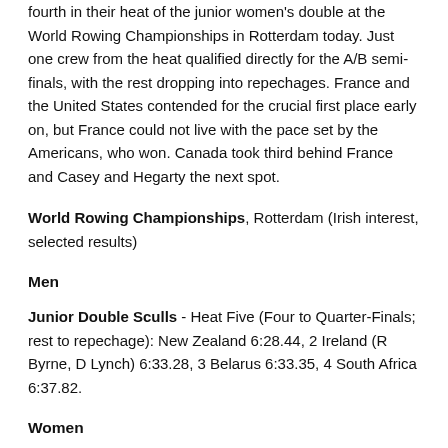fourth in their heat of the junior women's double at the World Rowing Championships in Rotterdam today. Just one crew from the heat qualified directly for the A/B semi-finals, with the rest dropping into repechages. France and the United States contended for the crucial first place early on, but France could not live with the pace set by the Americans, who won. Canada took third behind France and Casey and Hegarty the next spot.
World Rowing Championships, Rotterdam (Irish interest, selected results)
Men
Junior Double Sculls - Heat Five (Four to Quarter-Finals; rest to repechage): New Zealand 6:28.44, 2 Ireland (R Byrne, D Lynch) 6:33.28, 3 Belarus 6:33.35, 4 South Africa 6:37.82.
Women